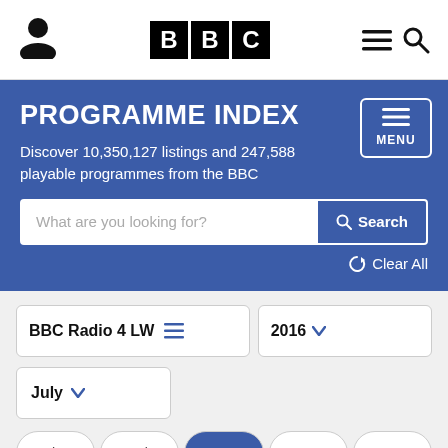BBC Programme Index
PROGRAMME INDEX
Discover 10,350,127 listings and 247,588 playable programmes from the BBC
What are you looking for? Search
Clear All
BBC Radio 4 LW  2016
July
Thu  Fri  Sat  Sun  Mon